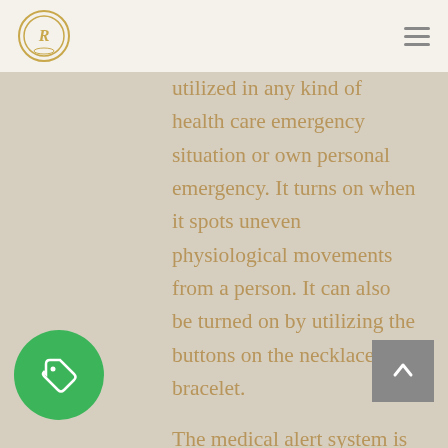Royal Care logo and navigation menu
utilized in any kind of health care emergency situation or own personal emergency. It turns on when it spots uneven physiological movements from a person. It can also be turned on by utilizing the buttons on the necklace, or bracelet.
The medical alert system is always active, and also can be used 24 hours a day and also 7 days a week. There is constantly an operative active at the other end of the line. This assures family, as well as the individual to have security while